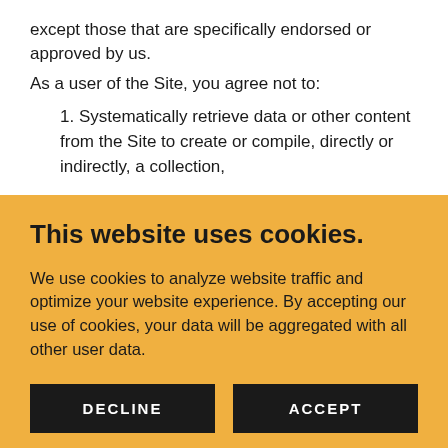except those that are specifically endorsed or approved by us.
As a user of the Site, you agree not to:
1. Systematically retrieve data or other content from the Site to create or compile, directly or indirectly, a collection,
This website uses cookies.
We use cookies to analyze website traffic and optimize your website experience. By accepting our use of cookies, your data will be aggregated with all other user data.
DECLINE
ACCEPT